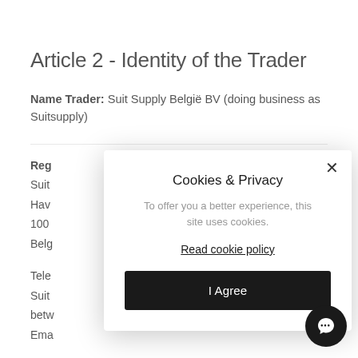Article 2 - Identity of the Trader
Name Trader: Suit Supply België BV (doing business as Suitsupply)
Reg
Suit
Hav
100
Belg
Tele
Suit
betw
Ema
Cha
VAT identification number: BE0891623208
[Figure (other): Cookies & Privacy modal overlay with close button (X), title 'Cookies & Privacy', body text 'To offer you a better experience, this site uses cookies.', a 'Read cookie policy' link, and an 'I Agree' button. A chat bubble icon appears in the bottom-right corner.]